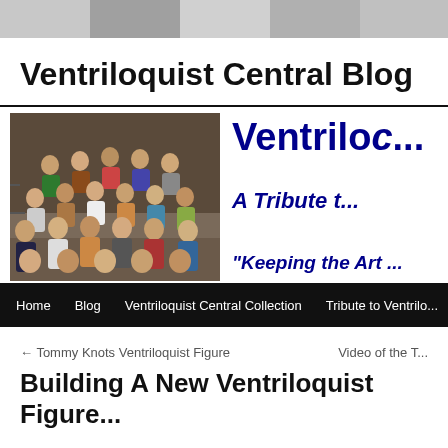[Figure (photo): Header strip with small ventriloquist figures arranged in a row]
Ventriloquist Central Blog
[Figure (photo): Banner with a group photo of many ventriloquist figures/dummies arranged on steps, alongside bold blue text reading 'Ventriloco... A Tribute t... Keeping the Art...']
Home   Blog   Ventriloquist Central Collection   Tribute to Ventrilo...
← Tommy Knots Ventriloquist Figure
Video of the T...
Building A New Ventriloquist Figure